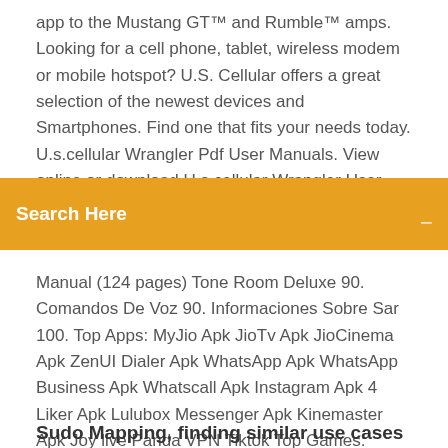app to the Mustang GT™ and Rumble™ amps. Looking for a cell phone, tablet, wireless modem or mobile hotspot? U.S. Cellular offers a great selection of the newest devices and Smartphones. Find one that fits your needs today. U.s.cellular Wrangler Pdf User Manuals. View online or download U.s.cellular Wrangler User Manual. Sign In. We have 2
Search Here
Manual (124 pages) Tone Room Deluxe 90. Comandos De Voz 90. Informaciones Sobre Sar 100. Top Apps: MyJio Apk JioTv Apk JioCinema Apk ZenUI Dialer Apk WhatsApp Apk WhatsApp Business Apk Whatscall Apk Instagram Apk 4 Liker Apk Lulubox Messenger Apk Kinemaster Apk Joy live Panda VPN Tiktok Top Games: Pokemon Go Apk Pokemesh Apk Clash of Clans Apk Clash Royale Apk Clash of Lords 2 Apk Slither.io Apk Doodle Army 2- Mini Militia Apk Fifa Mobile Apk
Sudo Mapping, finding similar use cases and best practices